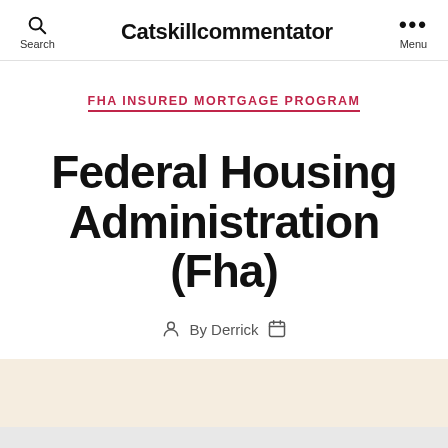Search | Catskillcommentator | Menu
FHA INSURED MORTGAGE PROGRAM
Federal Housing Administration (Fha)
By Derrick
Contents